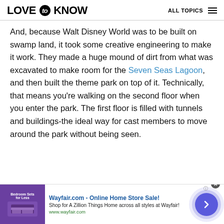LOVE to KNOW   ALL TOPICS
And, because Walt Disney World was to be built on swamp land, it took some creative engineering to make it work. They made a huge mound of dirt from what was excavated to make room for the Seven Seas Lagoon, and then built the theme park on top of it. Technically, that means you're walking on the second floor when you enter the park. The first floor is filled with tunnels and buildings-the ideal way for cast members to move around the park without being seen.
[Figure (screenshot): Wayfair.com advertisement banner: 'Wayfair.com - Online Home Store Sale! Shop for A Zillion Things Home across all styles at Wayfair! www.wayfair.com' with a purple bedroom image on the left and a blue arrow circle button on the right.]